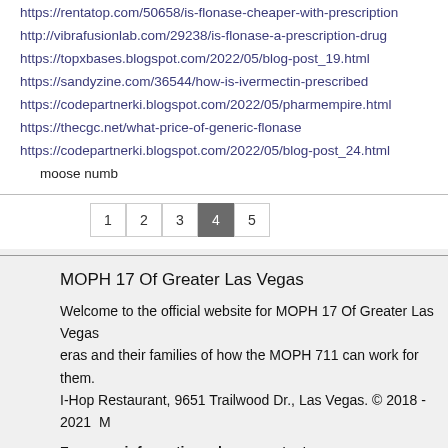https://rentatop.com/50658/is-flonase-cheaper-with-prescription
http://vibrafusionlab.com/29238/is-flonase-a-prescription-drug
https://topxbases.blogspot.com/2022/05/blog-post_19.html
https://sandyzine.com/36544/how-is-ivermectin-prescribed
https://codepartnerki.blogspot.com/2022/05/pharmempire.html
https://thecgc.net/what-price-of-generic-flonase
https://codepartnerki.blogspot.com/2022/05/blog-post_24.html
moose numb
1 2 3 4 5
MOPH 17 Of Greater Las Vegas
Welcome to the official website for MOPH 17 Of Greater Las Vegas eras and their families of how the MOPH 711 can work for them. I-Hop Restaurant, 9651 Trailwood Dr., Las Vegas. © 2018 - 2021 M
For more information, please contact:
Len Yelinek, MOPH Chapter 711, (702) 460-0769, lenyelinek@earth